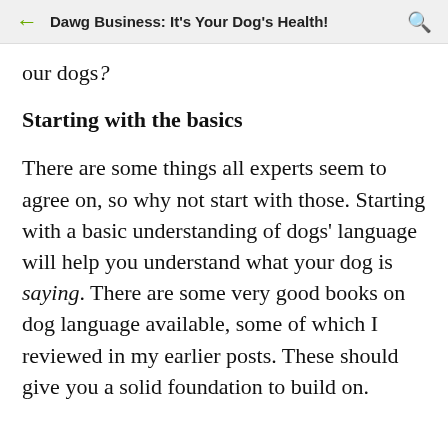Dawg Business: It's Your Dog's Health!
our dogs?
Starting with the basics
There are some things all experts seem to agree on, so why not start with those. Starting with a basic understanding of dogs' language will help you understand what your dog is saying. There are some very good books on dog language available, some of which I reviewed in my earlier posts. These should give you a solid foundation to build on.